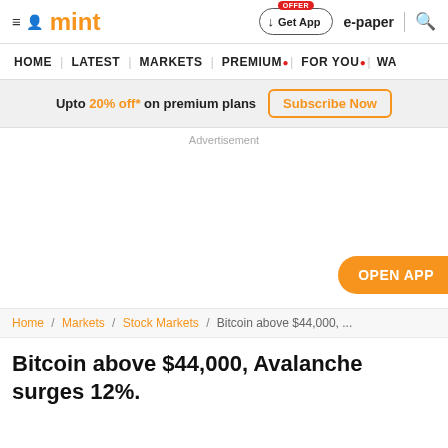mint
HOME | LATEST | MARKETS | PREMIUM | FOR YOU | WA
Upto 20% off* on premium plans  Subscribe Now
Advertisement
OPEN APP
Home / Markets / Stock Markets / Bitcoin above $44,000, ...
Bitcoin above $44,000, Avalanche surges 12%.